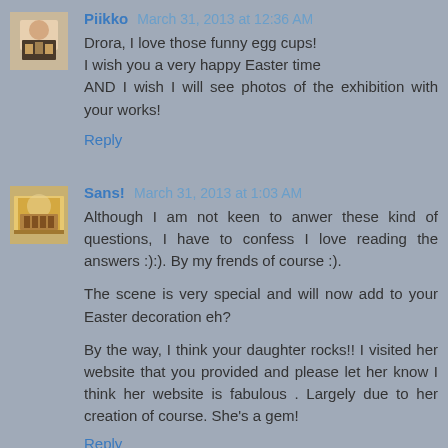Piikko  March 31, 2013 at 12:36 AM
Drora, I love those funny egg cups!
I wish you a very happy Easter time
AND I wish I will see photos of the exhibition with your works!
Reply
Sans!  March 31, 2013 at 1:03 AM
Although I am not keen to anwer these kind of questions, I have to confess I love reading the answers :):). By my frends of course :).

The scene is very special and will now add to your Easter decoration eh?

By the way, I think your daughter rocks!! I visited her website that you provided and please let her know I think her website is fabulous . Largely due to her creation of course. She's a gem!
Reply